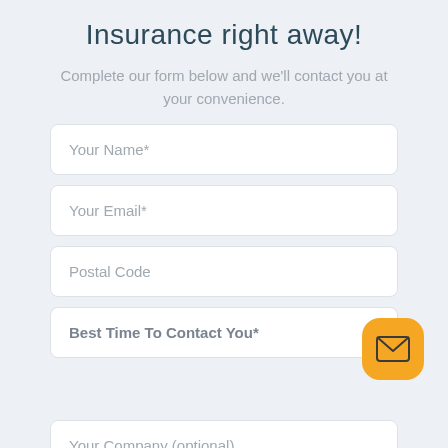Insurance right away!
Complete our form below and we'll contact you at your convenience.
Your Name*
Your Email*
Postal Code
Best Time To Contact You*
[Figure (illustration): Orange rounded square button with envelope/mail icon]
Your Company (optional)